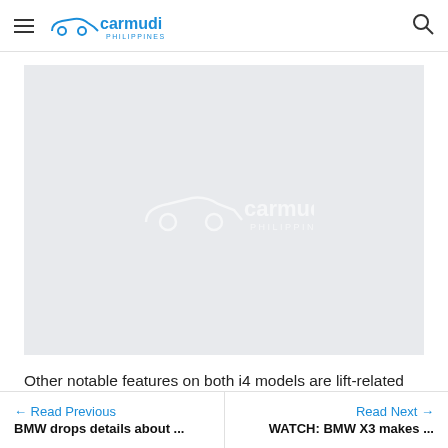Carmudi Philippines
[Figure (logo): Carmudi Philippines logo watermark on grey image placeholder background]
Other notable features on both i4 models are lift-related shock absorbers, rear air suspension, electromechanical
← Read Previous  BMW drops details about ...    Read Next →  WATCH: BMW X3 makes ...